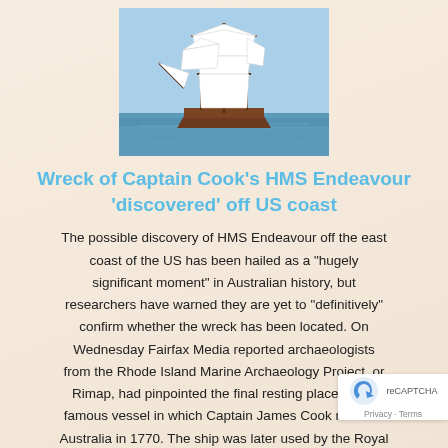[Figure (photo): A tall sailing ship with full white sails on blue ocean water under a clear sky — a replica of HMS Endeavour.]
Wreck of Captain Cook's HMS Endeavour 'discovered' off US coast
The possible discovery of HMS Endeavour off the east coast of the US has been hailed as a "hugely significant moment" in Australian history, but researchers have warned they are yet to "definitively" confirm whether the wreck has been located. On Wednesday Fairfax Media reported archaeologists from the Rhode Island Marine Archaeology Project, or Rimap, had pinpointed the final resting place of the famous vessel in which Captain James Cook reached Australia in 1770. The ship was later used by the Royal Navy in the American war of independence and was eventually scuttled with a dozen other vessels...